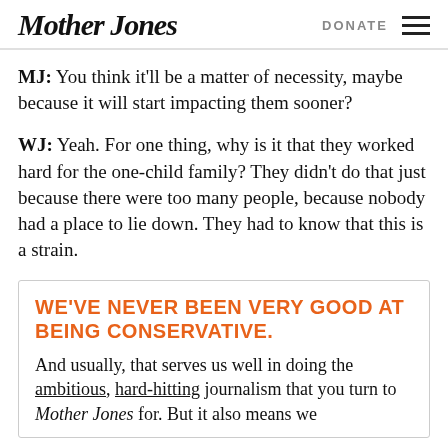Mother Jones | DONATE
MJ: You think it'll be a matter of necessity, maybe because it will start impacting them sooner?
WJ: Yeah. For one thing, why is it that they worked hard for the one-child family? They didn't do that just because there were too many people, because nobody had a place to lie down. They had to know that this is a strain.
WE'VE NEVER BEEN VERY GOOD AT BEING CONSERVATIVE.
And usually, that serves us well in doing the ambitious, hard-hitting journalism that you turn to Mother Jones for. But it also means we